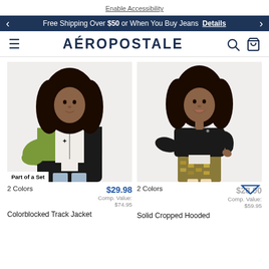Enable Accessibility
Free Shipping Over $50 or When You Buy Jeans  Details
AÉROPOSTALE
[Figure (photo): Model wearing colorblocked track jacket in green, white and black with ripped jeans. Badge reads 'Part of a Set'.]
2 Colors  $29.98  Comp. Value: $74.95
Colorblocked Track Jacket
[Figure (photo): Model wearing solid cropped hooded jacket in black with a sequin mini skirt.]
2 Colors  $28.00  Comp. Value: $59.95
Solid Cropped Hooded